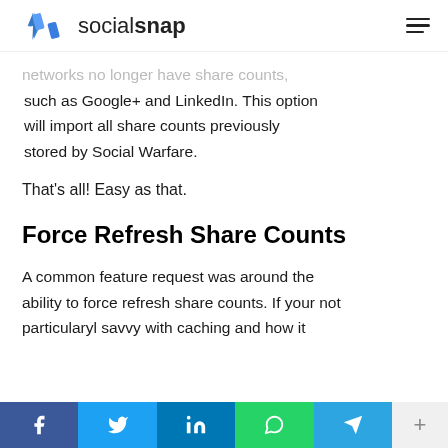socialsnap
networks no longer have share counts, such as Google+ and LinkedIn. This option will import all share counts previously stored by Social Warfare.
That's all! Easy as that.
Force Refresh Share Counts
A common feature request was around the ability to force refresh share counts. If your not particularyl savvy with caching and how it